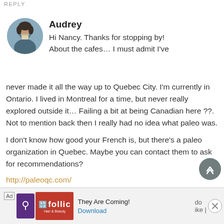REPLY
Audrey
Hi Nancy. Thanks for stopping by!
About the cafes… I must admit I've never made it all the way up to Quebec City. I'm currently in Ontario. I lived in Montreal for a time, but never really explored outside it… Failing a bit at being Canadian here ??. Not to mention back then I really had no idea what paleo was.
I don't know how good your French is, but there's a paleo organization in Quebec. Maybe you can contact them to ask for recommendations?
http://paleoqc.com/
Sorry I couldn't be of more help. I know how h
[Figure (photo): Circular avatar photo of a woman holding a cup]
Ad  follic  They Are Coming!  Download